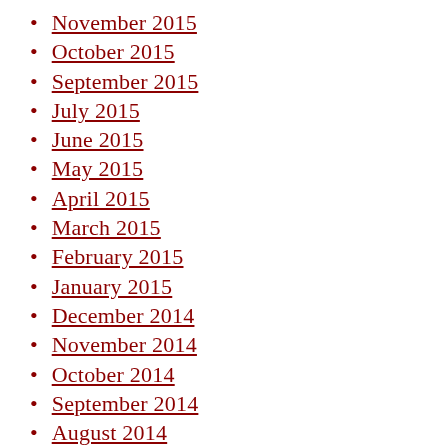November 2015
October 2015
September 2015
July 2015
June 2015
May 2015
April 2015
March 2015
February 2015
January 2015
December 2014
November 2014
October 2014
September 2014
August 2014